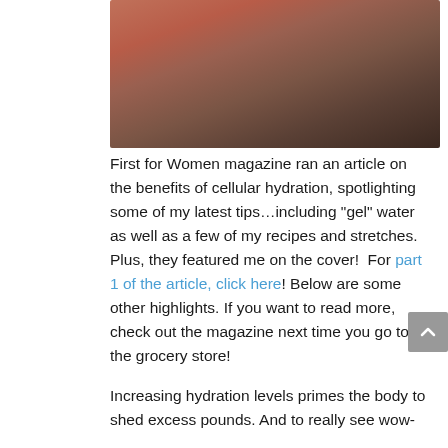[Figure (photo): Blurred photo of a person in a red top, with warm reddish-brown background tones]
First for Women magazine ran an article on the benefits of cellular hydration, spotlighting some of my latest tips…including "gel" water as well as a few of my recipes and stretches. Plus, they featured me on the cover!  For part 1 of the article, click here! Below are some other highlights. If you want to read more, check out the magazine next time you go to the grocery store!
Increasing hydration levels primes the body to shed excess pounds. And to really see wow-